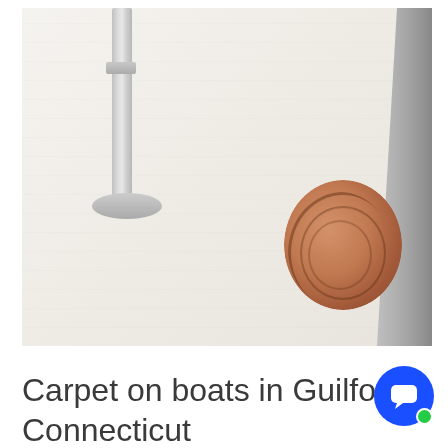[Figure (photo): Interior photo of a boat cabin floor covered in white/cream textured carpet or non-slip material. A metal support pole or rail is visible in the upper left with a flange base. On the right side, a teak wooden circular disc/step object is partially visible against a gray wall or cabinet edge.]
Carpet on boats in Guilford, Connecticut